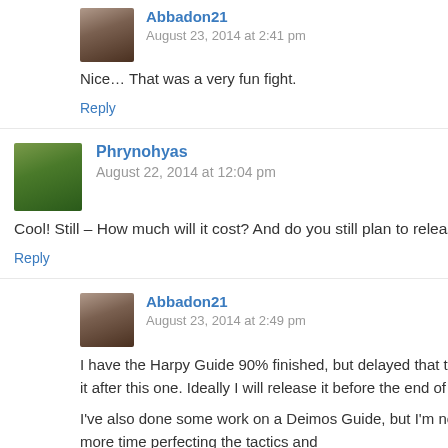Abbadon21
August 23, 2014 at 2:41 pm
Nice… That was a very fun fight.
Reply
Phrynohyas
August 22, 2014 at 12:04 pm
Cool! Still – How much will it cost? And do you still plan to release Harpy and Algos guides? ☺
Reply
Abbadon21
August 23, 2014 at 2:49 pm
I have the Harpy Guide 90% finished, but delayed that to do this guide first. I will go back and finish it after this one. Ideally I will release it before the end of September.
I've also done some work on a Deimos Guide, but I'm not satisfied with it yet, and want to spend more time perfecting the tactics and